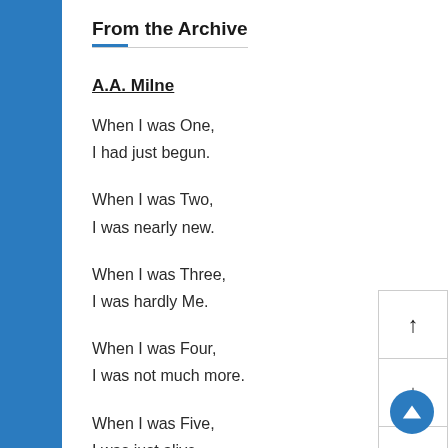From the Archive
A.A. Milne
When I was One,
I had just begun.
When I was Two,
I was nearly new.
When I was Three,
I was hardly Me.
When I was Four,
I was not much more.
When I was Five,
I was just alive.